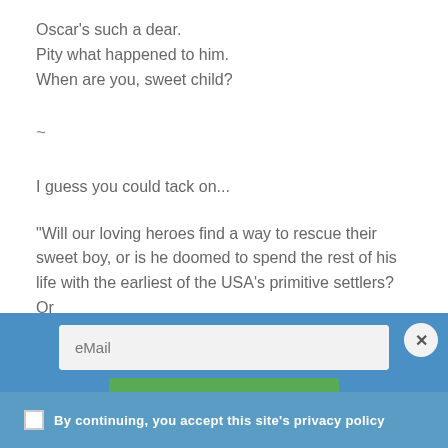Oscar's such a dear.
Pity what happened to him.
When are you, sweet child?
~
I guess you could tack on...
“Will our loving heroes find a way to rescue their sweet boy, or is he doomed to spend the rest of his life with the earliest of the USA’s primitive settlers? Or
eMail
NEWSLETTER SIGNUP
By continuing, you accept this site's privacy policy